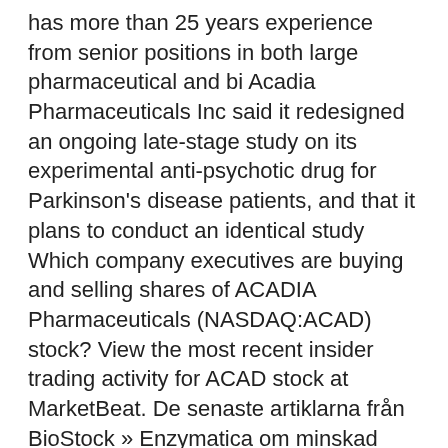has more than 25 years experience from senior positions in both large pharmaceutical and bi Acadia Pharmaceuticals Inc said it redesigned an ongoing late-stage study on its experimental anti-psychotic drug for Parkinson's disease patients, and that it plans to conduct an identical study Which company executives are buying and selling shares of ACADIA Pharmaceuticals (NASDAQ:ACAD) stock? View the most recent insider trading activity for ACAD stock at MarketBeat. De senaste artiklarna från BioStock » Enzymatica om minskad försäljning och planerad nyemission » BioStock Live med CombiGene » Abliva slutför fas Ia/b studie med KL1333 » BioStock's article series on MDR and IVDR: Notified Bodies – potential bottleneck » Nyemission finansierar utvecklingen av CombiGenes projekt